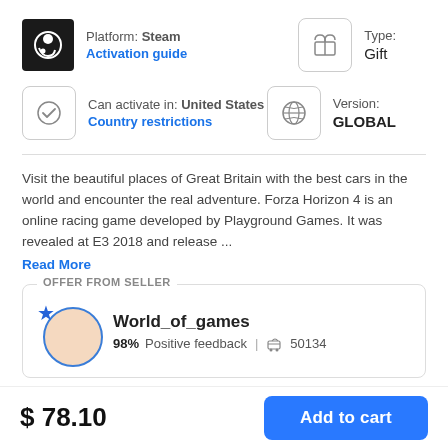Platform: Steam
Activation guide
Type:
Gift
Can activate in: United States
Country restrictions
Version:
GLOBAL
Visit the beautiful places of Great Britain with the best cars in the world and encounter the real adventure. Forza Horizon 4 is an online racing game developed by Playground Games. It was revealed at E3 2018 and release ...
Read More
OFFER FROM SELLER
World_of_games
98% Positive feedback | 50134
$ 78.10
Add to cart